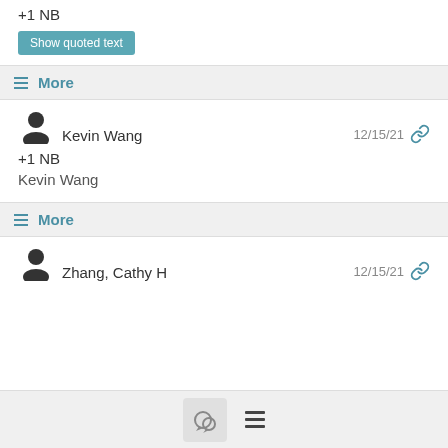+1 NB
Show quoted text
More
Kevin Wang 12/15/21 +1 NB Kevin Wang
More
Zhang, Cathy H 12/15/21